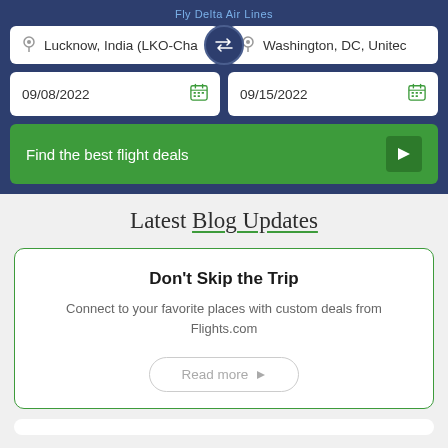[Figure (screenshot): Flight search widget with origin 'Lucknow, India (LKO-Cha...' and destination 'Washington, DC, United...', departure date 09/08/2022, return date 09/15/2022, and 'Find the best flight deals' button]
Latest Blog Updates
Don't Skip the Trip
Connect to your favorite places with custom deals from Flights.com
Read more